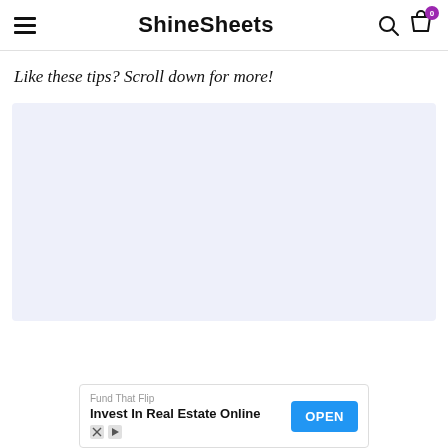ShineSheets
Like these tips? Scroll down for more!
[Figure (other): Large light lavender/blue placeholder advertisement block]
Fund That Flip
Invest In Real Estate Online
OPEN